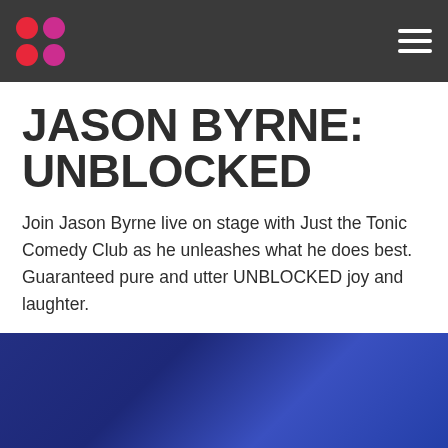Jason Byrne: Unblocked — Just the Tonic Comedy Club website header with logo and navigation
JASON BYRNE: UNBLOCKED
Join Jason Byrne live on stage with Just the Tonic Comedy Club as he unleashes what he does best. Guaranteed pure and utter UNBLOCKED joy and laughter.
FIND OUT MORE +
[Figure (photo): Dark blue/purple gradient background section at the bottom of the page]